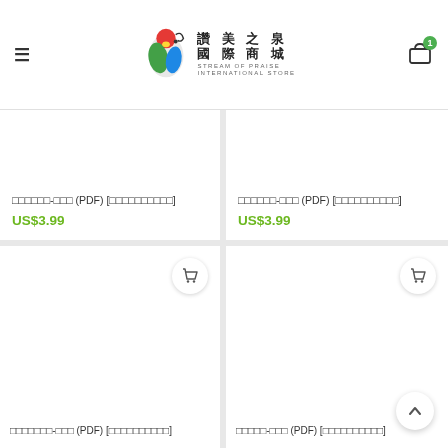讚美之泉 國際商城 STREAM OF PRAISE INTERNATIONAL STORE
□□□□□□-□□□ (PDF) [□□□□□□□□□□] US$3.99
□□□□□□-□□□ (PDF) [□□□□□□□□□□] US$3.99
[Figure (screenshot): Product card with cart icon button, empty image area]
[Figure (screenshot): Product card with cart icon button, empty image area]
□□□□□□□-□□□ (PDF) [□□□□□□□□□□]
□□□□□-□□□ (PDF) [□□□□□□□□□□]